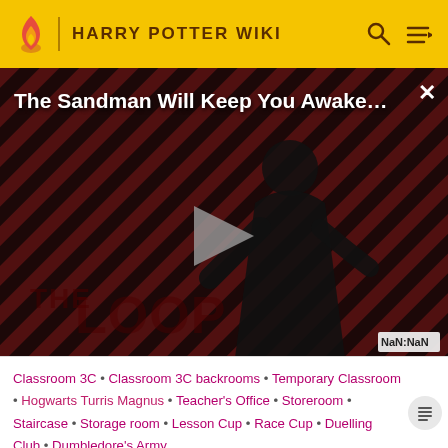HARRY POTTER WIKI
[Figure (screenshot): Video player thumbnail for 'The Sandman Will Keep You Awake...' with a dark diagonal striped background, a figure in black, a grey play button, and 'THE LOOP' text watermark. Shows NaN:NaN time display.]
Classroom 3C • Classroom 3C backrooms • Temporary Classroom • Hogwarts Turris Magnus • Teacher's Office • Storeroom • Staircase • Storage room • Lesson Cup • Race Cup • Duelling Club • Dumbledore's Army
Professors